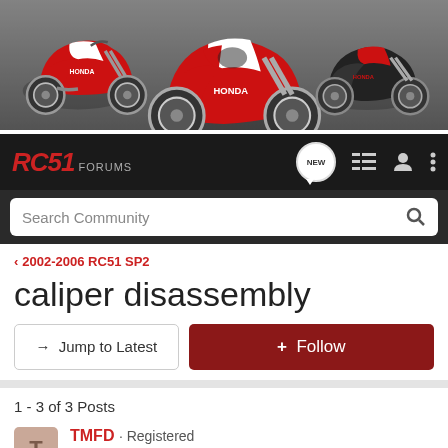[Figure (photo): Banner image showing three red and white Honda RC51 motorcycles against a dark grey wall background]
RC51 FORUMS
Search Community
< 2002-2006 RC51 SP2
caliper disassembly
→ Jump to Latest
+ Follow
1 - 3 of 3 Posts
TMFD · Registered
Joined Jan 16, 2009 · 73 Posts